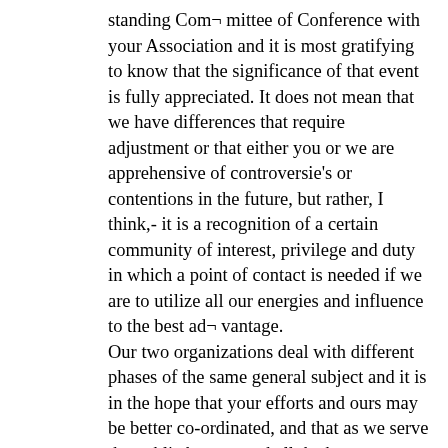standing Com¬ mittee of Conference with your Association and it is most gratifying to know that the significance of that event is fully appreciated. It does not mean that we have differences that require adjustment or that either you or we are apprehensive of controversie's or contentions in the future, but rather, I think,- it is a recognition of a certain community of interest, privilege and duty in which a point of contact is needed if we are to utilize all our energies and influence to the best ad¬ vantage.
Our two organizations deal with different phases of the same general subject and it is in the hope that your efforts and ours may be better co-ordinated, and that as we serve the public better we shall the better serve our own interests that we are here to-day.
At the outset it will perhaps be well to make clear to you precisely what the National Board is: what its